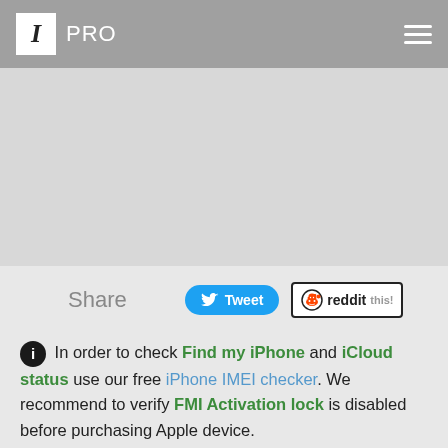I PRO
[Figure (other): Large gray advertisement or empty content placeholder area]
Share  Tweet  reddit this!
In order to check Find my iPhone and iCloud status use our free iPhone IMEI checker. We recommend to verify FMI Activation lock is disabled before purchasing Apple device.